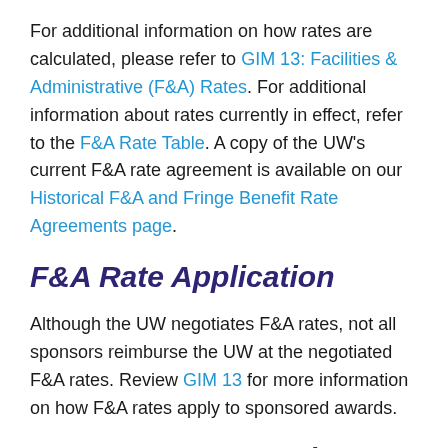For additional information on how rates are calculated, please refer to GIM 13: Facilities & Administrative (F&A) Rates. For additional information about rates currently in effect, refer to the F&A Rate Table. A copy of the UW's current F&A rate agreement is available on our Historical F&A and Fringe Benefit Rate Agreements page.
F&A Rate Application
Although the UW negotiates F&A rates, not all sponsors reimburse the UW at the negotiated F&A rates. Review GIM 13 for more information on how F&A rates apply to sponsored awards.
F&A Rates on Cost Share Contributions